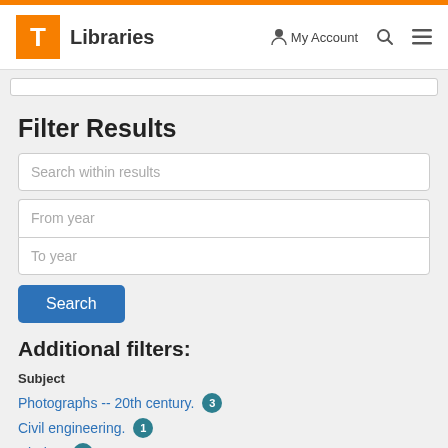T Libraries | My Account | Search | Menu
Filter Results
Search within results (input field)
From year (input field)
To year (input field)
Search (button)
Additional filters:
Subject
Photographs -- 20th century. [3]
Civil engineering. [1]
Diaries. [1]